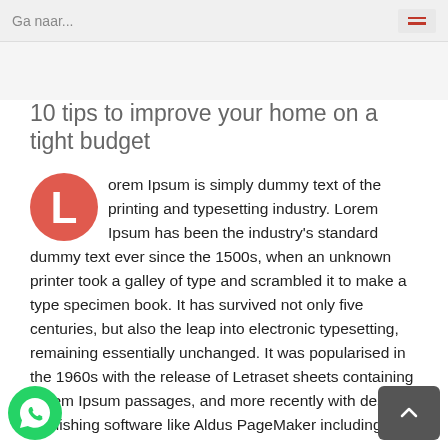Ga naar...
10 tips to improve your home on a tight budget
Lorem Ipsum is simply dummy text of the printing and typesetting industry. Lorem Ipsum has been the industry's standard dummy text ever since the 1500s, when an unknown printer took a galley of type and scrambled it to make a type specimen book. It has survived not only five centuries, but also the leap into electronic typesetting, remaining essentially unchanged. It was popularised in the 1960s with the release of Letraset sheets containing Lorem Ipsum passages, and more recently with desktop publishing software like Aldus PageMaker including